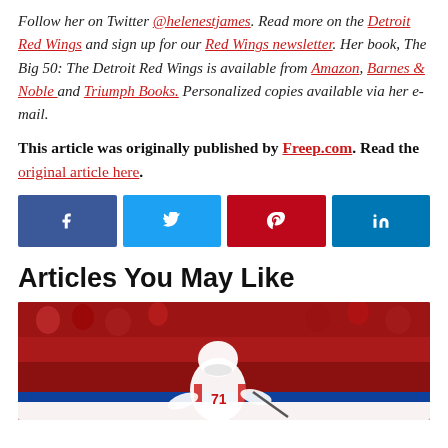Follow her on Twitter @helenestjames. Read more on the Detroit Red Wings and sign up for our Red Wings newsletter. Her book, The Big 50: The Detroit Red Wings is available from Amazon, Barnes & Noble and Triumph Books. Personalized copies available via her e-mail.
This article was originally published by Freep.com. Read the original article here.
[Figure (other): Social media share buttons: Facebook (f), Twitter (bird icon), Pinterest (p), LinkedIn (in)]
Articles You May Like
[Figure (photo): Hockey player in Detroit Red Wings white jersey number 71 skating on ice, crowd in background]